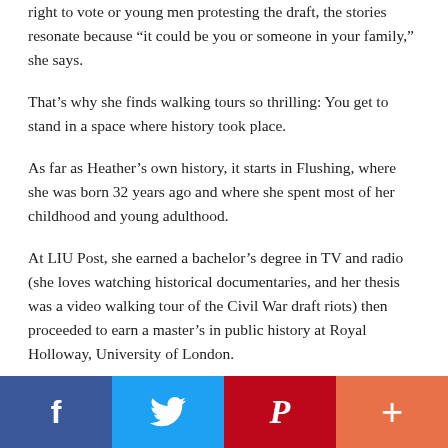right to vote or young men protesting the draft, the stories resonate because "it could be you or someone in your family," she says.
That's why she finds walking tours so thrilling: You get to stand in a space where history took place.
As far as Heather's own history, it starts in Flushing, where she was born 32 years ago and where she spent most of her childhood and young adulthood.
At LIU Post, she earned a bachelor's degree in TV and radio (she loves watching historical documentaries, and her thesis was a video walking tour of the Civil War draft riots) then proceeded to earn a master's in public history at Royal Holloway, University of London.
"Public history is all about putting history to the public," b...
[Figure (other): Social media sharing bar with Facebook, Twitter, Pinterest, and plus/more buttons]